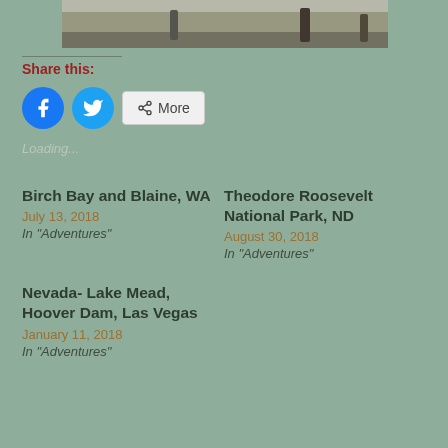[Figure (photo): Partial street scene photo cropped at top of page]
Share this:
Loading...
Birch Bay and Blaine, WA
July 13, 2018
In "Adventures"
Theodore Roosevelt National Park, ND
August 30, 2018
In "Adventures"
Nevada- Lake Mead, Hoover Dam, Las Vegas
January 11, 2018
In "Adventures"